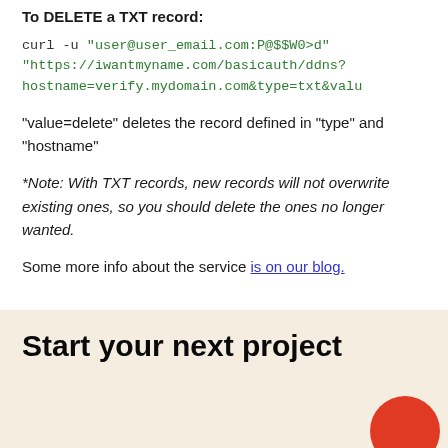To DELETE a TXT record:
curl -u "user@user_email.com:P@$$W0>d" "https://iwantmyname.com/basicauth/ddns?hostname=verify.mydomain.com&type=txt&valu
"value=delete" deletes the record defined in "type" and "hostname"
*Note: With TXT records, new records will not overwrite existing ones, so you should delete the ones no longer wanted.
Some more info about the service is on our blog.
Start your next project